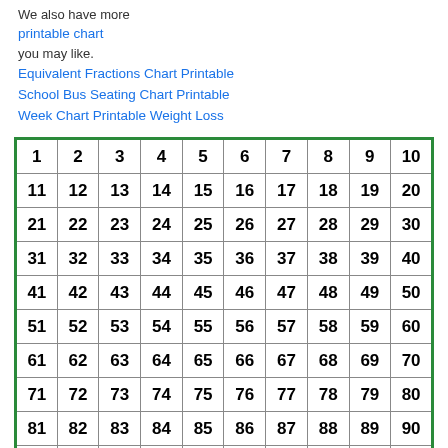We also have more printable chart you may like.
Equivalent Fractions Chart Printable
School Bus Seating Chart Printable
Week Chart Printable Weight Loss
| 1 | 2 | 3 | 4 | 5 | 6 | 7 | 8 | 9 | 10 |
| 11 | 12 | 13 | 14 | 15 | 16 | 17 | 18 | 19 | 20 |
| 21 | 22 | 23 | 24 | 25 | 26 | 27 | 28 | 29 | 30 |
| 31 | 32 | 33 | 34 | 35 | 36 | 37 | 38 | 39 | 40 |
| 41 | 42 | 43 | 44 | 45 | 46 | 47 | 48 | 49 | 50 |
| 51 | 52 | 53 | 54 | 55 | 56 | 57 | 58 | 59 | 60 |
| 61 | 62 | 63 | 64 | 65 | 66 | 67 | 68 | 69 | 70 |
| 71 | 72 | 73 | 74 | 75 | 76 | 77 | 78 | 79 | 80 |
| 81 | 82 | 83 | 84 | 85 | 86 | 87 | 88 | 89 | 90 |
| 91 | 92 | 93 | 94 | 95 | 96 | 97 | 98 | 99 | 100 |